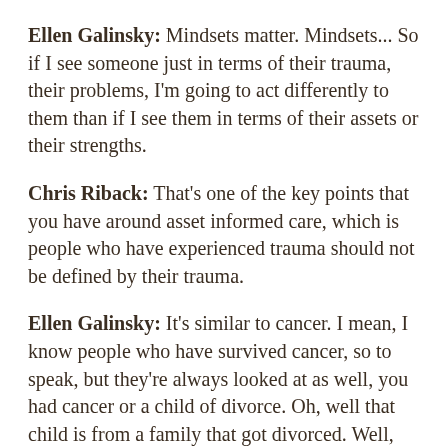Ellen Galinsky: Mindsets matter. Mindsets... So if I see someone just in terms of their trauma, their problems, I'm going to act differently to them than if I see them in terms of their assets or their strengths.
Chris Riback: That's one of the key points that you have around asset informed care, which is people who have experienced trauma should not be defined by their trauma.
Ellen Galinsky: It's similar to cancer. I mean, I know people who have survived cancer, so to speak, but they're always looked at as well, you had cancer or a child of divorce. Oh, well that child is from a family that got divorced. Well, that's 50% of us or so forth. So we have